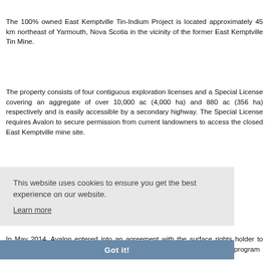The 100% owned East Kemptville Tin-Indium Project is located approximately 45 km northeast of Yarmouth, Nova Scotia in the vicinity of the former East Kemptville Tin Mine.
The property consists of four contiguous exploration licenses and a Special License covering an aggregate of over 10,000 ac (4,000 ha) and 880 ac (356 ha) respectively and is easily accessible by a secondary highway. The Special License requires Avalon to secure permission from current landowners to access the closed East Kemptville mine site.
PROJECT TIMELINE
In May 2014, Avalon entered into an agreement with the surface rights holder to secure access to lands held under the Special License for a limited drilling program